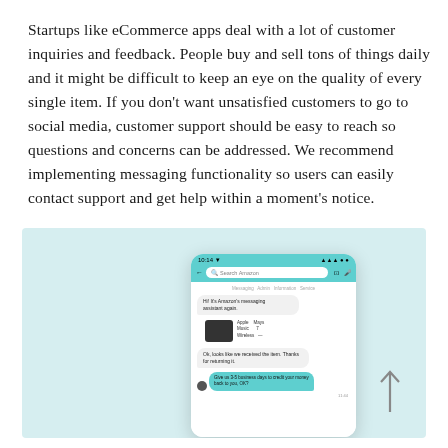Startups like eCommerce apps deal with a lot of customer inquiries and feedback. People buy and sell tons of things daily and it might be difficult to keep an eye on the quality of every single item. If you don't want unsatisfied customers to go to social media, customer support should be easy to reach so questions and concerns can be addressed. We recommend implementing messaging functionality so users can easily contact support and get help within a moment's notice.
[Figure (screenshot): Screenshot of a mobile eCommerce messaging interface (Amazon-style) showing a chat with customer support, including a product listing for Apple Music Wireless and messages about a returned item and refund.]